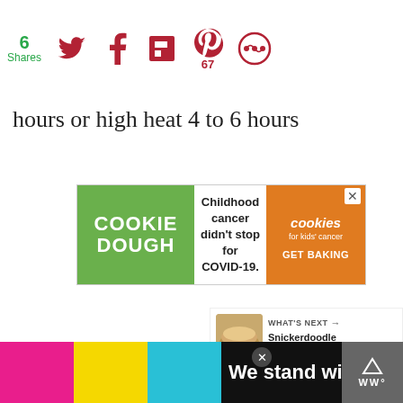6 Shares | Twitter | Facebook | Flipboard | Pinterest 67 | Other
hours or high heat 4 to 6 hours
[Figure (screenshot): Advertisement banner for Cookie Dough for Kids Cancer charity: green left panel with 'COOKIE DOUGH' text, white center with 'Childhood cancer didn't stop for COVID-19.', orange right panel with cookies for kids cancer logo and 'GET BAKING' button]
[Figure (screenshot): What's Next widget showing Snickerdoodle Peanut Butt... recipe thumbnail]
[Figure (screenshot): Bottom advertisement banner: 'We stand with you.' on black background with pink, yellow, and blue stripes, with close button and WW logo in bottom right]